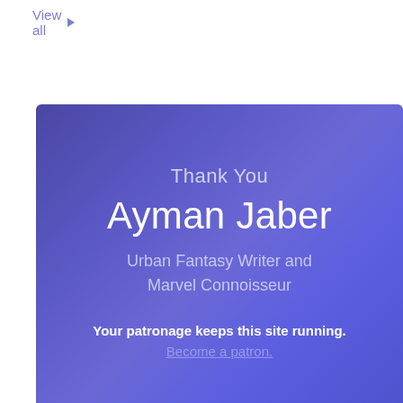View all
[Figure (infographic): Thank you patron card with gradient purple background showing 'Thank You', 'Ayman Jaber', 'Urban Fantasy Writer and Marvel Connoisseur', 'Your patronage keeps this site running.', 'Become a patron.']
Recent Articles in Social Justice